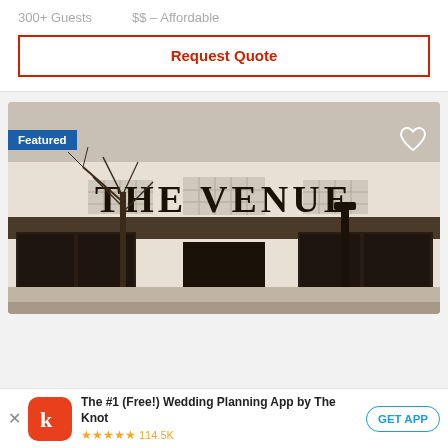300+ Guests   $$ – Affordable
Request Quote
[Figure (photo): Exterior photo of a commercial building with large text 'THE VENUE' on the facade. The building has black-framed windows and glass block accents. A bare tree is visible in front. Sepia/warm tone photo.]
Featured
The #1 (Free!) Wedding Planning App by The Knot ★★★★★ 114.5K
GET APP